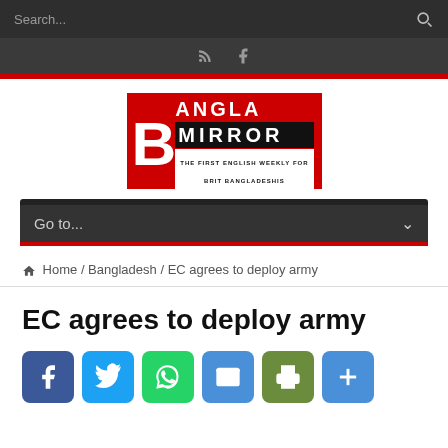Search...
[Figure (logo): Bangla Mirror newspaper logo - red background with white B and ANGLA text, black MIRROR text, tagline THE FIRST ENGLISH WEEKLY FOR BRIT BANGLADESHIS]
Go to...
Home / Bangladesh / EC agrees to deploy army
EC agrees to deploy army